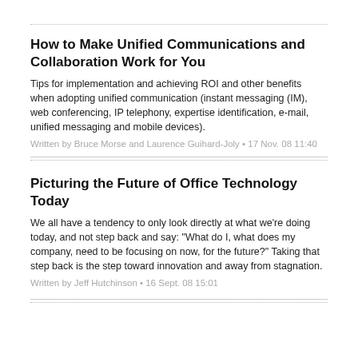How to Make Unified Communications and Collaboration Work for You
Tips for implementation and achieving ROI and other benefits when adopting unified communication (instant messaging (IM), web conferencing, IP telephony, expertise identification, e-mail, unified messaging and mobile devices).
Written by Bruce Morse and Laurence Guihard-Joly • 17 Nov. 08 11:40
Picturing the Future of Office Technology Today
We all have a tendency to only look directly at what we're doing today, and not step back and say: "What do I, what does my company, need to be focusing on now, for the future?" Taking that step back is the step toward innovation and away from stagnation.
Written by Jeff Hutchinson • 16 Sept. 08 15:01